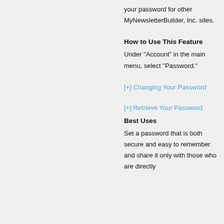your password for other MyNewsletterBuilder, Inc. sites.
How to Use This Feature
Under "Account" in the main menu, select "Password."
[+] Changing Your Password
[+] Retrieve Your Password
Best Uses
Set a password that is both secure and easy to remember and share it only with those who are directly